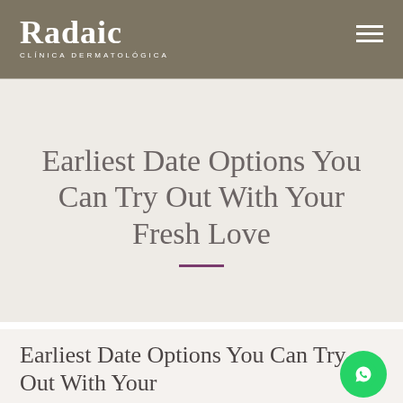Radaic CLÍNICA DERMATOLÓGICA
Earliest Date Options You Can Try Out With Your Fresh Love
Earliest Date Options You Can Try Out With Your